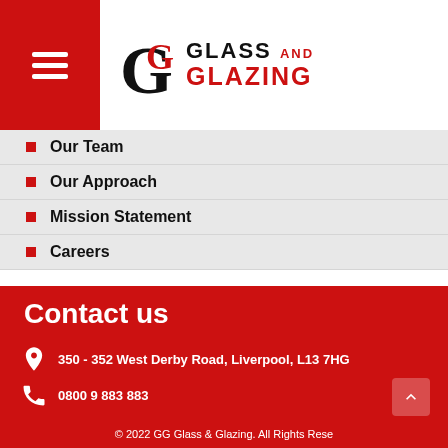[Figure (logo): Glass and Glazing company logo with hamburger menu icon on red background]
Our Team
Our Approach
Mission Statement
Careers
Contact us
350 - 352 West Derby Road, Liverpool, L13 7HG
0800 9 883 883
info@ggglass.co.uk
© 2022 GG Glass & Glazing. All Rights Rese